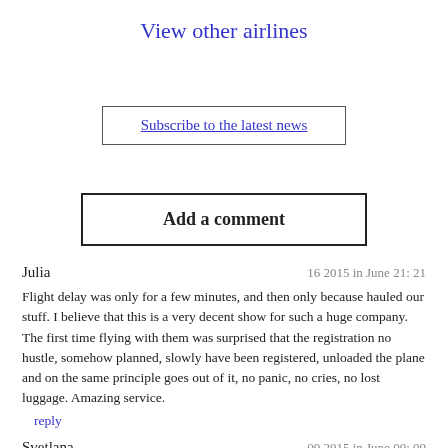View other airlines
Subscribe to the latest news
Add a comment
Julia	16 2015 in June 21: 21
Flight delay was only for a few minutes, and then only because hauled our stuff. I believe that this is a very decent show for such a huge company. The first time flying with them was surprised that the registration no hustle, somehow planned, slowly have been registered, unloaded the plane and on the same principle goes out of it, no panic, no cries, no lost luggage. Amazing service.
reply
Svetlana	09 2015 in June 00: 09